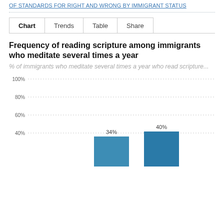OF STANDARDS FOR RIGHT AND WRONG BY IMMIGRANT STATUS
Chart   Trends   Table   Share
Frequency of reading scripture among immigrants who meditate several times a year
% of immigrants who meditate several times a year who read scripture...
[Figure (bar-chart): Frequency of reading scripture among immigrants who meditate several times a year]